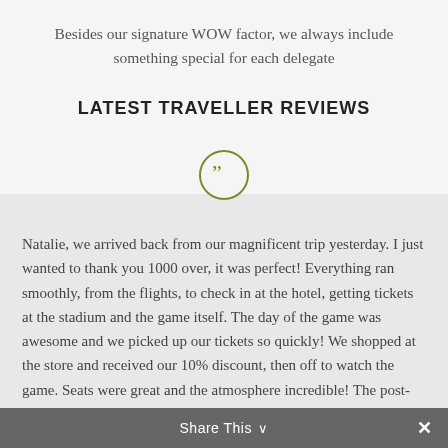Besides our signature WOW factor, we always include something special for each delegate
LATEST TRAVELLER REVIEWS
[Figure (illustration): Olive/green circle with double closing quotation mark icon inside]
Natalie, we arrived back from our magnificent trip yesterday. I just wanted to thank you 1000 over, it was perfect! Everything ran smoothly, from the flights, to check in at the hotel, getting tickets at the stadium and the game itself. The day of the game was awesome and we picked up our tickets so quickly! We shopped at the store and received our 10% discount, then off to watch the game. Seats were great and the atmosphere incredible! The post-game hospitality was also very well
Share This ˅  ✕